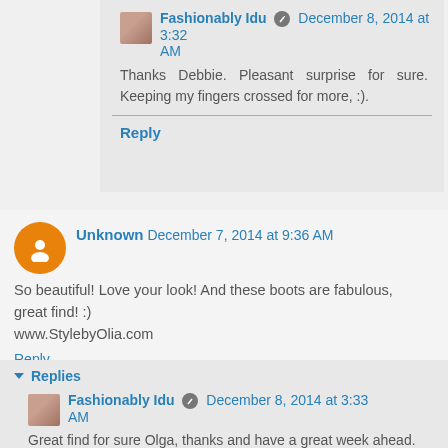Fashionably Idu · December 8, 2014 at 3:32 AM
Thanks Debbie. Pleasant surprise for sure. Keeping my fingers crossed for more, :).
Reply
Unknown December 7, 2014 at 9:36 AM
So beautiful! Love your look! And these boots are fabulous, great find! :)
www.StylebyOlia.com
Reply
Replies
Fashionably Idu · December 8, 2014 at 3:33 AM
Great find for sure Olga, thanks and have a great week ahead.